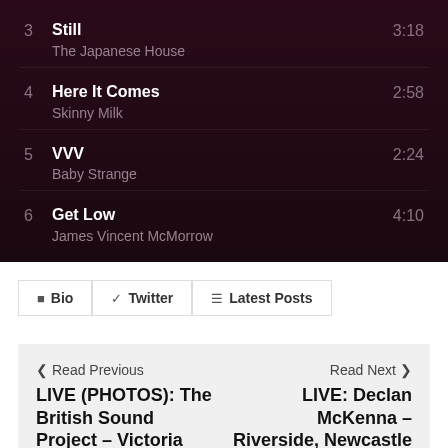3  Still  3:18  The Japanese House
4  Here It Comes  2:58  Skinny Milk
5  VVV  2:24  Baby Strange
6  Get Low  4:10  James Vincent McMorrow
Bio  Twitter  Latest Posts
< Read Previous  LIVE (PHOTOS): The British Sound Project – Victoria Warehouse, Manchester 24.09.16
Read Next >  LIVE: Declan McKenna – Riverside, Newcastle 03.10.16